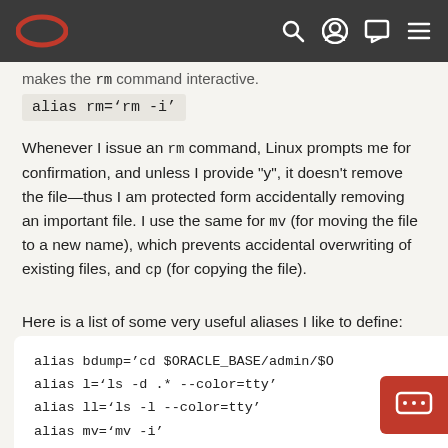Oracle blog navigation bar with logo and icons
makes the rm command interactive.
Whenever I issue an rm command, Linux prompts me for confirmation, and unless I provide "y", it doesn't remove the file—thus I am protected form accidentally removing an important file. I use the same for mv (for moving the file to a new name), which prevents accidental overwriting of existing files, and cp (for copying the file).
Here is a list of some very useful aliases I like to define:
alias bdump='cd $ORACLE_BASE/admin/$O
alias l='ls -d .* --color=tty'
alias ll='ls -l --color=tty'
alias mv='mv -i'